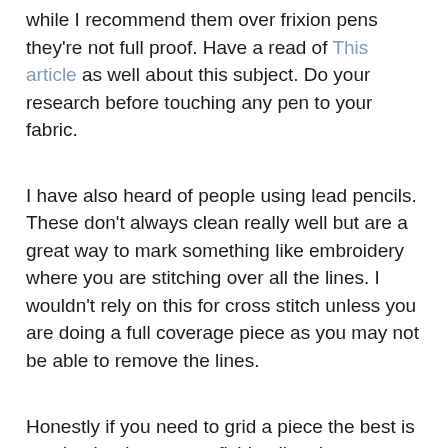while I recommend them over frixion pens they're not full proof. Have a read of This article as well about this subject. Do your research before touching any pen to your fabric.
I have also heard of people using lead pencils. These don't always clean really well but are a great way to mark something like embroidery where you are stitching over all the lines. I wouldn't rely on this for cross stitch unless you are doing a full coverage piece as you may not be able to remove the lines.
Honestly if you need to grid a piece the best is to take the time to use fishing line. It removes easier than the other options.
In the end you can make your own decisions and do your own research. Look up archival and acid safe in